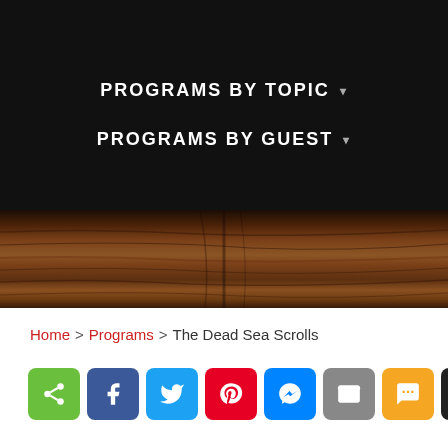PROGRAMS BY TOPIC ▾
PROGRAMS BY GUEST ▾
[Figure (photo): Wooden table surface texture background]
Home > Programs > The Dead Sea Scrolls
[Figure (infographic): Social sharing buttons row: share, Facebook, Twitter, Pinterest, Messenger, Email, SMS, Print]